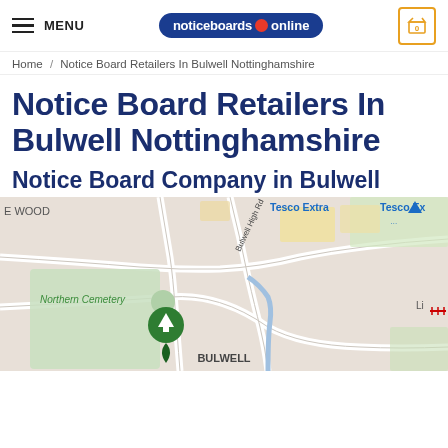MENU | noticeboards online | 0
Home / Notice Board Retailers In Bulwell Nottinghamshire
Notice Board Retailers In Bulwell Nottinghamshire
Notice Board Company in Bulwell
[Figure (map): Google Maps view of Bulwell area showing Northern Cemetery, Bulwell High Rd, Tesco Extra labels, and a green location pin marker. The label BULWELL appears at the bottom center of the map.]